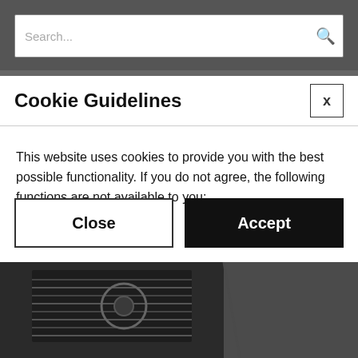Search...
Cookie Guidelines
This website uses cookies to provide you with the best possible functionality. If you do not agree, the following functions are not available to you:
Add products to cart
Wish list
Product recommendations and much more
Close
Accept
[Figure (photo): Dark industrial or mechanical equipment photo at the bottom of the page]